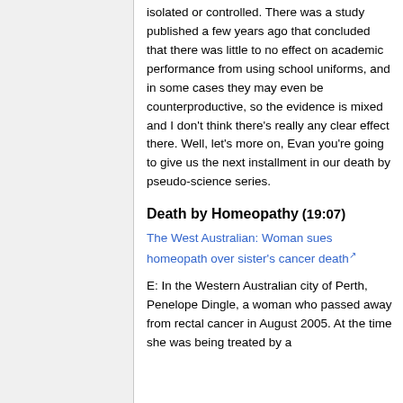isolated or controlled. There was a study published a few years ago that concluded that there was little to no effect on academic performance from using school uniforms, and in some cases they may even be counterproductive, so the evidence is mixed and I don't think there's really any clear effect there. Well, let's more on, Evan you're going to give us the next installment in our death by pseudo-science series.
Death by Homeopathy (19:07)
The West Australian: Woman sues homeopath over sister's cancer death
E: In the Western Australian city of Perth, Penelope Dingle, a woman who passed away from rectal cancer in August 2005. At the time she was being treated by a